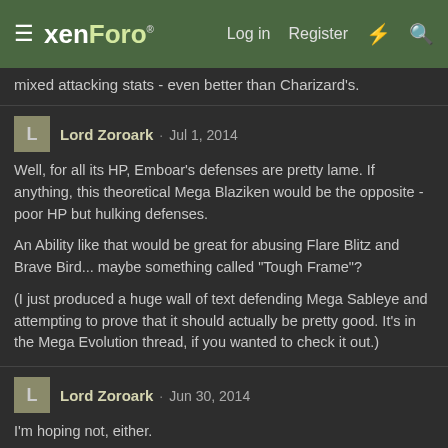xenForo | Log in | Register
mixed attacking stats - even better than Charizard's.
Lord Zoroark · Jul 1, 2014
Well, for all its HP, Emboar's defenses are pretty lame. If anything, this theoretical Mega Blaziken would be the opposite - poor HP but hulking defenses.

An Ability like that would be great for abusing Flare Blitz and Brave Bird... maybe something called "Tough Frame"?

(I just produced a huge wall of text defending Mega Sableye and attempting to prove that it should actually be pretty good. It's in the Mega Evolution thread, if you wanted to check it out.)
Lord Zoroark · Jun 30, 2014
I'm hoping not, either.